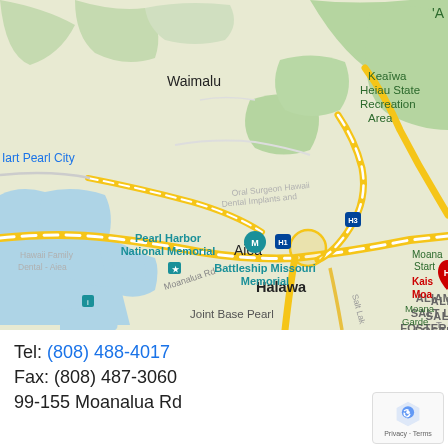[Figure (map): Google Maps screenshot showing Pearl Harbor area in Hawaii including landmarks: Waimalu, Pearl City, Keaiwa Heiau State Recreation Area, Aiea, Halawa, Pearl Harbor National Memorial, Battleship Missouri Memorial, Aliamanu-Salt Lakes-Foster Village area, Joint Base Pearl Harbor, Moanalua Gardens. Roads including H1 and H3 freeways and Moanalua Rd visible.]
Tel: (808) 488-4017
Fax: (808) 487-3060
99-155 Moanalua Rd